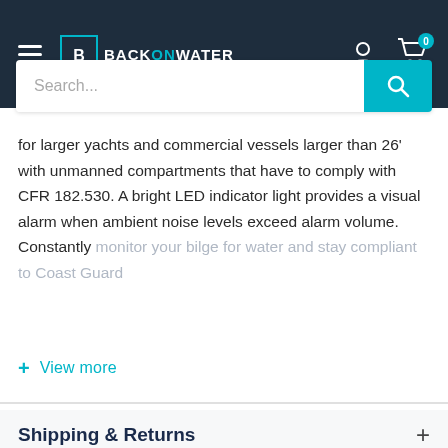BackOnWater navigation header with search bar
for larger yachts and commercial vessels larger than 26' with unmanned compartments that have to comply with CFR 182.530. A bright LED indicator light provides a visual alarm when ambient noise levels exceed alarm volume. Constantly monitor your bilge for water and stay compliant to Coast Guard
+ View more
Shipping & Returns